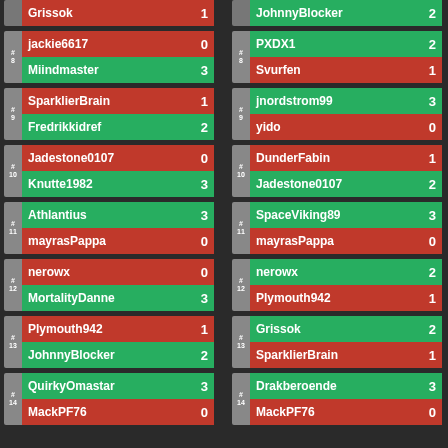| # | Player | Score |
| --- | --- | --- |
| #7 (left) | Grissok | 1 |
| #7 (left) | (opponent top) |  |
| #8 (left) | jackie6617 | 0 |
| #8 (left) | Miindmaster | 3 |
| #9 (left) | SparklierBrain | 1 |
| #9 (left) | Fredrikkidref | 2 |
| #10 (left) | Jadestone0107 | 0 |
| #10 (left) | Knutte1982 | 3 |
| #11 (left) | Athlantius | 3 |
| #11 (left) | mayrasPappa | 0 |
| #12 (left) | nerowx | 0 |
| #12 (left) | MortalityDanne | 3 |
| #13 (left) | Plymouth942 | 1 |
| #13 (left) | JohnnyBlocker | 2 |
| #14 (left) | QuirkyOmastar | 3 |
| #14 (left) | MackPF76 | 0 |
| #7 (right) | JohnnyBlocker | 2 |
| #7 (right) | (opponent top) |  |
| #8 (right) | PXDX1 | 2 |
| #8 (right) | Svurfen | 1 |
| #9 (right) | jnordstrom99 | 3 |
| #9 (right) | yido | 0 |
| #10 (right) | DunderFabin | 1 |
| #10 (right) | Jadestone0107 | 2 |
| #11 (right) | SpaceViking89 | 3 |
| #11 (right) | mayrasPappa | 0 |
| #12 (right) | nerowx | 2 |
| #12 (right) | Plymouth942 | 1 |
| #13 (right) | Grissok | 2 |
| #13 (right) | SparklierBrain | 1 |
| #14 (right) | Drakberoende | 3 |
| #14 (right) | MackPF76 | 0 |